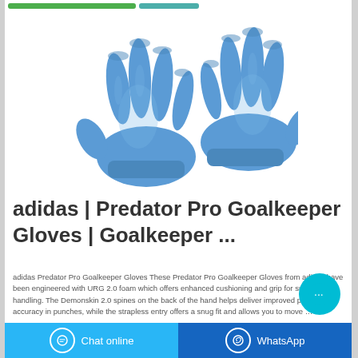[Figure (photo): Two blue nitrile/latex goalkeeper gloves displayed against a white background]
adidas | Predator Pro Goalkeeper Gloves | Goalkeeper ...
adidas Predator Pro Goalkeeper Gloves These Predator Pro Goalkeeper Gloves from adidas have been engineered with URG 2.0 foam which offers enhanced cushioning and grip for superior handling. The Demonskin 2.0 spines on the back of the hand helps deliver improved power and accuracy in punches, while the strapless entry offers a snug fit and allows you to move …
Chat online | WhatsApp